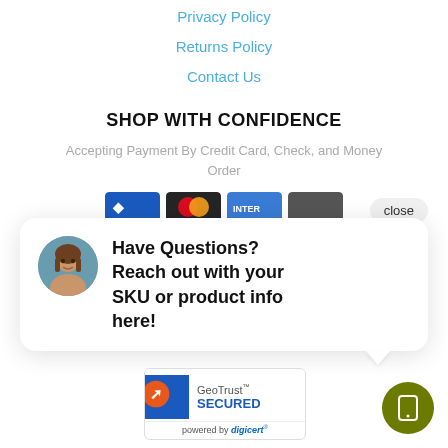Privacy Policy
Returns Policy
Contact Us
SHOP WITH CONFIDENCE
Accepting Payment By Credit Card, Check, and Money Order
[Figure (screenshot): Payment method icons: blue card, Mastercard, Stripe, dark card]
close
[Figure (infographic): Chat popup with avatar photo of woman and text: Have Questions? Reach out with your SKU or product info here!]
[Figure (logo): GeoTrust SECURED powered by digicert badge]
[Figure (other): Green circular mobile/tablet icon button (FAB)]